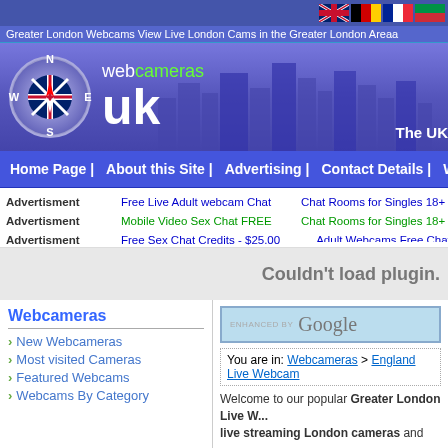[Figure (screenshot): UK and German and French and Italian flag icons in top-right corner]
Greater London Webcams View Live London Cams in the Greater London Areaa
[Figure (logo): WebCameras UK logo with compass rose and city skyline silhouette. Text: web cameras uk. The UK]
Home Page | About this Site | Advertising | Contact Details | Webca
Advertisment Free Live Adult webcam Chat
Advertisment Mobile Video Sex Chat FREE
Advertisment Free Sex Chat Credits - $25.00
Phone? Chat Rooms for Singles 18+ Chat Rooms for Singles 18+ Adult Webcams Free Chat Weba FREE Sex V
Couldn't load plugin.
Webcameras
New Webcameras
Most visited Cameras
Featured Webcams
Webcams By Category
[Figure (screenshot): Google search bar enhanced by Google]
You are in: Webcameras > England Live Webcam
Welcome to our popular Greater London Live W... live streaming London cameras and fast refres...